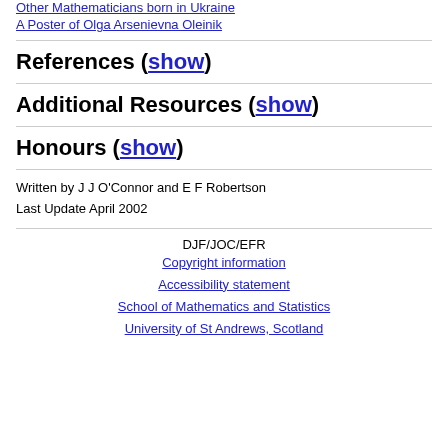Other Mathematicians born in Ukraine
A Poster of Olga Arsenievna Oleinik
References (show)
Additional Resources (show)
Honours (show)
Written by J J O'Connor and E F Robertson
Last Update April 2002
DJF/JOC/EFR
Copyright information
Accessibility statement
School of Mathematics and Statistics
University of St Andrews, Scotland